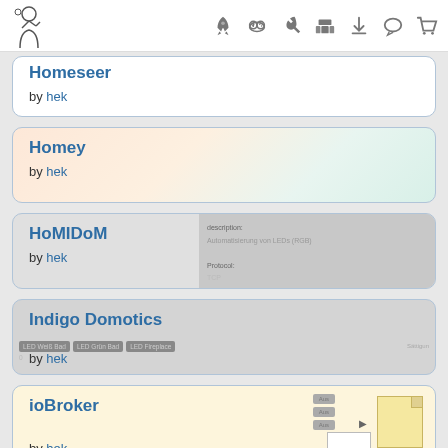Navigation header with logo and icons
Homeseer by hek
Homey by hek
HoMIDoM by hek
Indigo Domotics by hek
ioBroker by hek